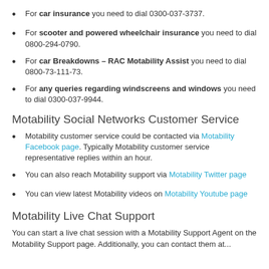For car insurance you need to dial 0300-037-3737.
For scooter and powered wheelchair insurance you need to dial 0800-294-0790.
For car Breakdowns – RAC Motability Assist you need to dial 0800-73-111-73.
For any queries regarding windscreens and windows you need to dial 0300-037-9944.
Motability Social Networks Customer Service
Motability customer service could be contacted via Motability Facebook page. Typically Motability customer service representative replies within an hour.
You can also reach Motability support via Motability Twitter page
You can view latest Motability videos on Motability Youtube page
Motability Live Chat Support
You can start a live chat session with a Motability Support Agent on the Motability Support page. Additionally, you can contact them at...